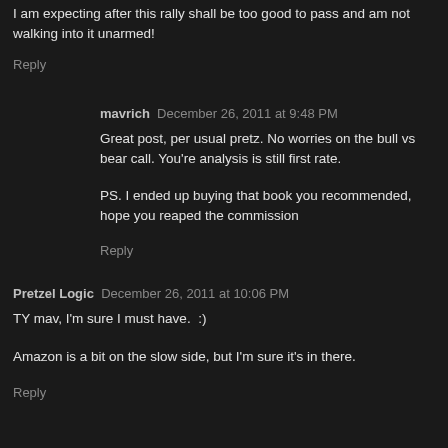I am expecting after this rally shall be too good to pass and am not walking into it unarmed!
Reply
mavrich   December 26, 2011 at 9:48 PM
Great post, per usual pretz. No worries on the bull vs bear call. You're analysis is still first rate.
PS. I ended up buying that book you recommended, hope you reaped the commission
Reply
Pretzel Logic   December 26, 2011 at 10:06 PM
TY mav, I'm sure I must have.  :)
Amazon is a bit on the slow side, but I'm sure it's in there.
Reply